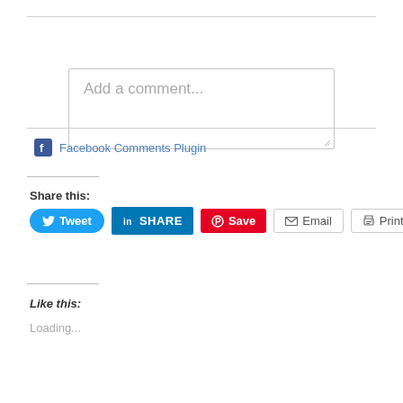[Figure (screenshot): Comment text input box with placeholder text 'Add a comment...']
Facebook Comments Plugin
Share this:
[Figure (screenshot): Social share buttons: Tweet, SHARE (LinkedIn), Save (Pinterest), Email, Print]
Like this:
Loading...